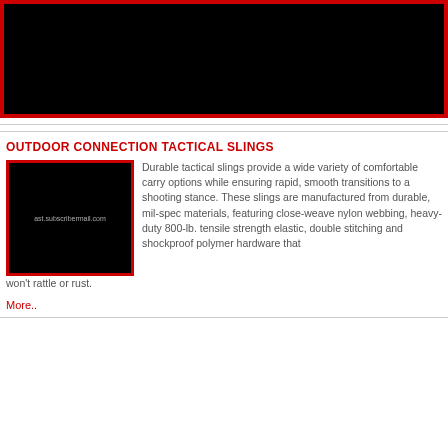[Figure (photo): Large black image with red border at top of page]
OUTDOOR CONNECTION TACTICAL SLINGS
[Figure (photo): Small black thumbnail image with red border and text 'ast.subscribermail.com']
Durable tactical slings provide a wide variety of comfortable carry options while ensuring rapid, smooth transitions to a shooting stance. These slings are manufactured from durable, mil-spec materials, featuring close-weave nylon webbing, heavy-duty 800-lb. tensile strength elastic, double stitching and shockproof polymer hardware that won't rattle or rust.
More..